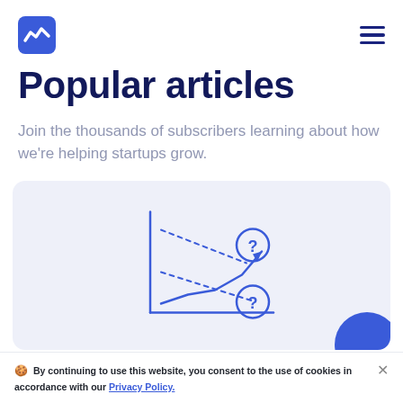Logo and navigation menu
Popular articles
Join the thousands of subscribers learning about how we're helping startups grow.
[Figure (illustration): Illustration of a chart with two crossing dotted lines and a solid upward-trending line with an arrow, with two question mark circles above and below, set on a light purple/lavender card background.]
By continuing to use this website, you consent to the use of cookies in accordance with our Privacy Policy.